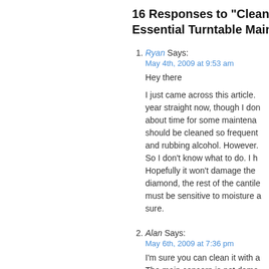16 Responses to “Cleaning Y Essential Turntable Maintena…”
Ryan Says:
May 4th, 2009 at 9:53 am
Hey there

I just came across this article. year straight now, though I don about time for some maintena should be cleaned so frequent and rubbing alcohol. However. So I don’t know what to do. I h Hopefully it won’t damage the diamond, the rest of the cantile must be sensitive to moisture a sure.
Alan Says:
May 6th, 2009 at 7:36 pm
I’m sure you can clean it with a The main concern is not dama the tip of the stylus. Always cle be gentle, and you should be f